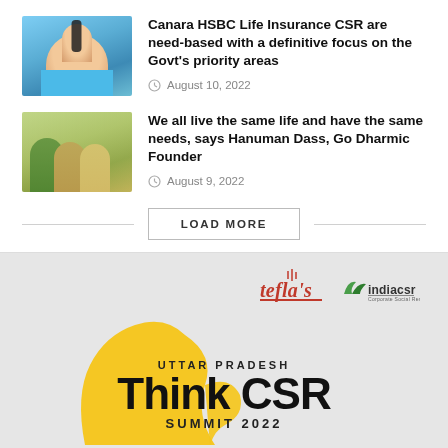[Figure (photo): Woman speaking at a microphone, wearing blue attire]
Canara HSBC Life Insurance CSR are need-based with a definitive focus on the Govt's priority areas
August 10, 2022
[Figure (photo): Children outdoors, one child getting hair cut or groomed]
We all live the same life and have the same needs, says Hanuman Dass, Go Dharmic Founder
August 9, 2022
[Figure (logo): Uttar Pradesh Think CSR Summit 2022 banner with tefla's and indiacsr logos]